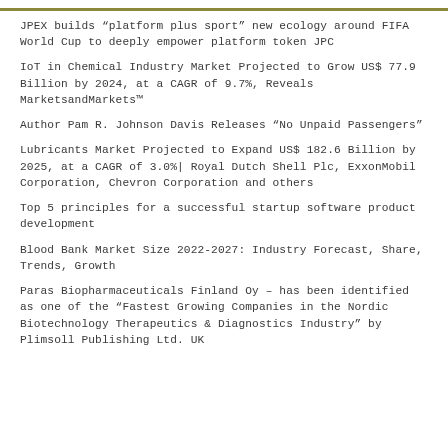JPEX builds “platform plus sport” new ecology around FIFA World Cup to deeply empower platform token JPC
IoT in Chemical Industry Market Projected to Grow US$ 77.9 Billion by 2024, at a CAGR of 9.7%, Reveals MarketsandMarkets™
Author Pam R. Johnson Davis Releases “No Unpaid Passengers”
Lubricants Market Projected to Expand US$ 182.6 Billion by 2025, at a CAGR of 3.0%| Royal Dutch Shell Plc, ExxonMobil Corporation, Chevron Corporation and others
Top 5 principles for a successful startup software product development
Blood Bank Market Size 2022-2027: Industry Forecast, Share, Trends, Growth
Paras Biopharmaceuticals Finland Oy – has been identified as one of the “Fastest Growing Companies in the Nordic Biotechnology Therapeutics & Diagnostics Industry” by Plimsoll Publishing Ltd. UK